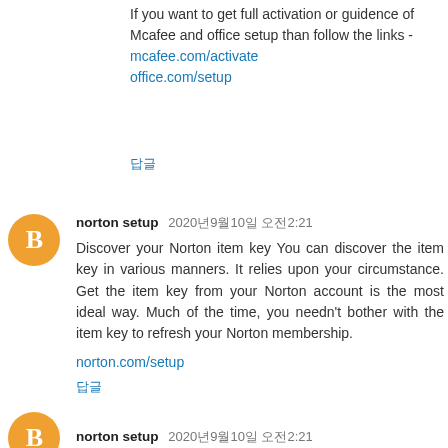If you want to get full activation or guidence of Mcafee and office setup than follow the links -
mcafee.com/activate
office.com/setup
답글
norton setup 2020년9월10일 오전2:21
Discover your Norton item key You can discover the item key in various manners. It relies upon your circumstance. Get the item key from your Norton account is the most ideal way. Much of the time, you needn't bother with the item key to refresh your Norton membership.
norton.com/setup
답글
norton setup 2020년9월10일 오전2:21